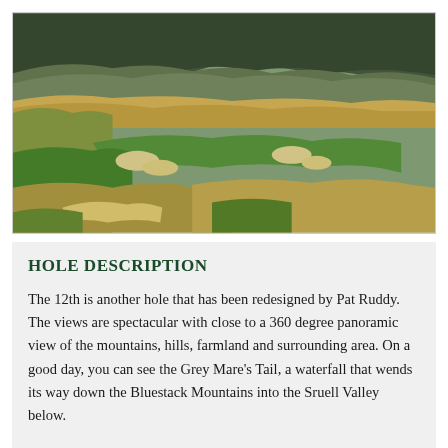[Figure (photo): Aerial/ground-level view of a links golf course with sand bunkers, green fairways, rolling dunes and hills. Mountains and farmland visible in the background under dramatic lighting.]
HOLE DESCRIPTION
The 12th is another hole that has been redesigned by Pat Ruddy. The views are spectacular with close to a 360 degree panoramic view of the mountains, hills, farmland and surrounding area. On a good day, you can see the Grey Mare's Tail, a waterfall that wends its way down the Bluestack Mountains into the Sruell Valley below.